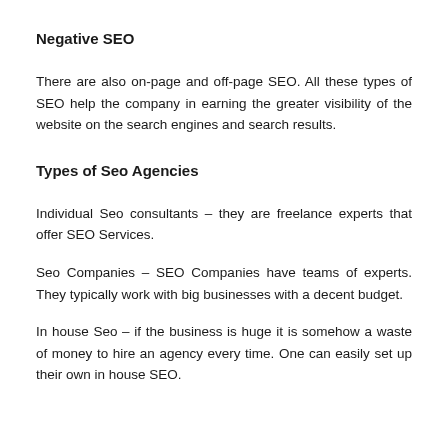Negative SEO
There are also on-page and off-page SEO. All these types of SEO help the company in earning the greater visibility of the website on the search engines and search results.
Types of Seo Agencies
Individual Seo consultants – they are freelance experts that offer SEO Services.
Seo Companies – SEO Companies have teams of experts. They typically work with big businesses with a decent budget.
In house Seo – if the business is huge it is somehow a waste of money to hire an agency every time. One can easily set up their own in house SEO.